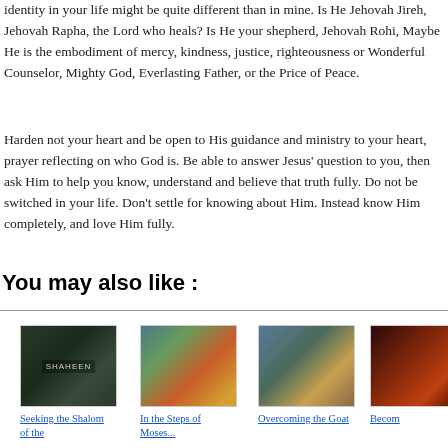identity in your life might be quite different than in mine.  Is He Jehovah Jireh, Jehovah Rapha, the Lord who heals?  Is He your shepherd, Jehovah Rohi, Maybe He is the embodiment of mercy, kindness, justice, righteousness or Wonderful Counselor, Mighty God, Everlasting Father, or the Price of Peace.
Harden not your heart and be open to His guidance and ministry to your heart, prayer reflecting on who God is.  Be able to answer Jesus' question to you, then ask Him to help you know, understand and believe that truth fully.  Do not be switched in your life.  Don't settle for knowing about Him.  Instead know Him completely, and love Him fully.
You may also like :
[Figure (photo): Dark green textured surface with a faint label reading 'SHAHEEN']
Seeking the Shalom of the
[Figure (photo): Colorful mural artwork showing a stylized face with teal and orange tones]
In the Steps of Moses...
[Figure (photo): Outdoor scene with a decorated truck and people in the background]
Overcoming the Goat
[Figure (photo): Dark reddish-orange abstract flame or light streaks]
Becom